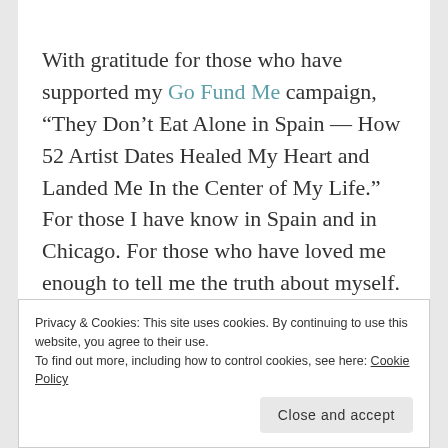With gratitude for those who have supported my Go Fund Me campaign, “They Don’t Eat Alone in Spain — How 52 Artist Dates Healed My Heart and Landed Me In the Center of My Life.” For those I have know in Spain and in Chicago. For those who have loved me enough to tell me the truth about myself. For those who have brought
Privacy & Cookies: This site uses cookies. By continuing to use this website, you agree to their use.
To find out more, including how to control cookies, see here: Cookie Policy